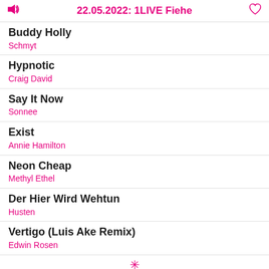22.05.2022: 1LIVE Fiehe
Buddy Holly
Schmyt
Hypnotic
Craig David
Say It Now
Sonnee
Exist
Annie Hamilton
Neon Cheap
Methyl Ethel
Der Hier Wird Wehtun
Husten
Vertigo (Luis Ake Remix)
Edwin Rosen